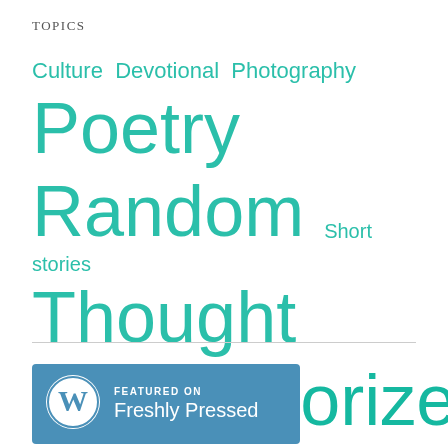TOPICS
Culture Devotional Photography Poetry Random Short stories Thought Uncategorized
[Figure (logo): WordPress Freshly Pressed badge — blue rectangle with WordPress logo and text 'FEATURED ON Freshly Pressed']